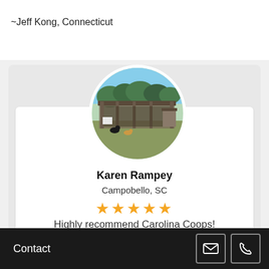~Jeff Kong, Connecticut
[Figure (photo): Circular profile photo of a chicken coop / farm structure with chickens on grass, trees in background]
Karen Rampey
Campobello, SC
★★★★★
Highly recommend Carolina Coops!
Carolina Coops did a wonderful job assisting
throughout the entire process was friendly
Contact